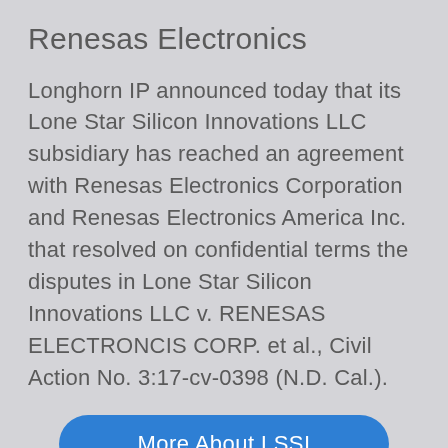Renesas Electronics
Longhorn IP announced today that its Lone Star Silicon Innovations LLC subsidiary has reached an agreement with Renesas Electronics Corporation and Renesas Electronics America Inc. that resolved on confidential terms the disputes in Lone Star Silicon Innovations LLC v. RENESAS ELECTRONCIS CORP. et al., Civil Action No. 3:17-cv-0398 (N.D. Cal.).
More About LSSI